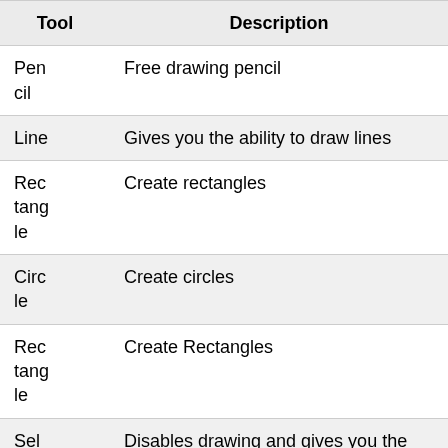| Tool | Description |
| --- | --- |
| Pencil | Free drawing pencil |
| Line | Gives you the ability to draw lines |
| Rectangle | Create rectangles |
| Circle | Create circles |
| Rectangle | Create Rectangles |
| Sel | Disables drawing and gives you the ability to modify |